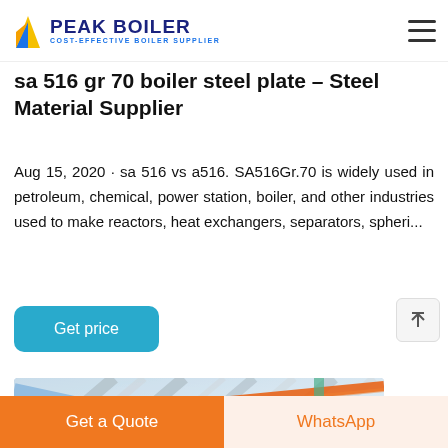PEAK BOILER COST-EFFECTIVE BOILER SUPPLIER
sa 516 gr 70 boiler steel plate – Steel Material Supplier
Aug 15, 2020 · sa 516 vs a516. SA516Gr.70 is widely used in petroleum, chemical, power station, boiler, and other industries used to make reactors, heat exchangers, separators, spheri...
[Figure (photo): Industrial piping and structural steel components, showing orange and blue pipes with metal framework against a light blue sky background]
Get a Quote | WhatsApp